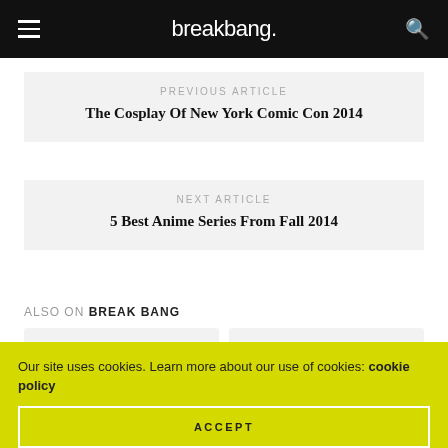breakbang.
PREVIOUS ARTICLE
The Cosplay Of New York Comic Con 2014
NEXT ARTICLE
5 Best Anime Series From Fall 2014
ALSO ON BREAK BANG
[Figure (other): Two article card placeholders in a row]
Our site uses cookies. Learn more about our use of cookies: cookie policy
ACCEPT